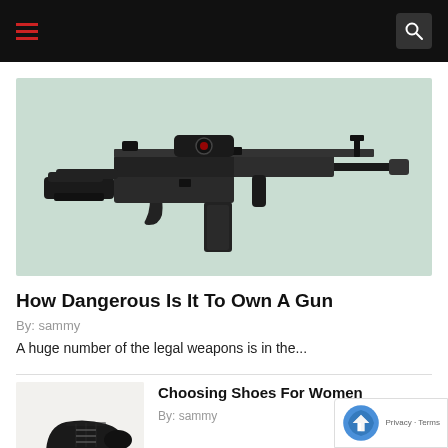Navigation bar with hamburger menu and search icon
[Figure (photo): Black AR-15 style rifle with red dot scope on a mint/sage green background]
How Dangerous Is It To Own A Gun
By: sammy
A huge number of the legal weapons is in the...
[Figure (photo): Black platform oxford shoe on white background]
Choosing Shoes For Women
By: sammy